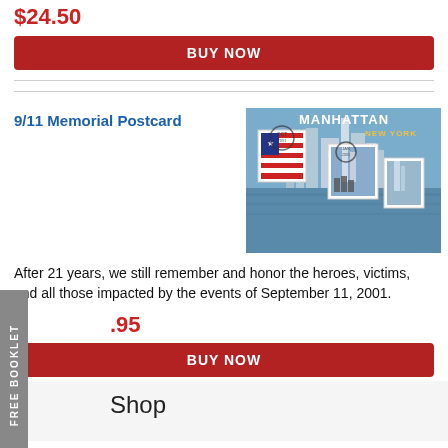$24.50
BUY NOW
9/11 Memorial Postcard
[Figure (photo): 9/11 Memorial Postcard showing Manhattan skyline with US flag stamps and postmarks, text 'MANHATTAN NEW YORK']
After 21 years, we still remember and honor the heroes, victims, and all those impacted by the events of September 11, 2001.
.95
BUY NOW
FREE BOOKLET
Shop